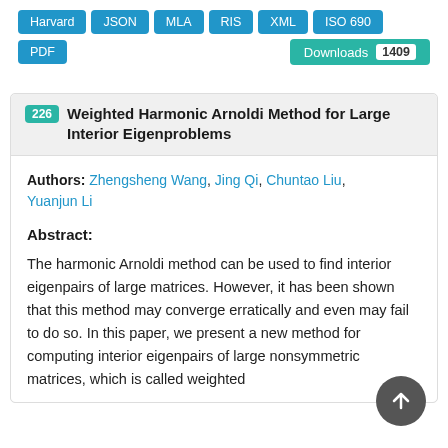Harvard JSON MLA RIS XML ISO 690 PDF Downloads 1409
226 Weighted Harmonic Arnoldi Method for Large Interior Eigenproblems
Authors: Zhengsheng Wang, Jing Qi, Chuntao Liu, Yuanjun Li
Abstract:
The harmonic Arnoldi method can be used to find interior eigenpairs of large matrices. However, it has been shown that this method may converge erratically and even may fail to do so. In this paper, we present a new method for computing interior eigenpairs of large nonsymmetric matrices, which is called weighted